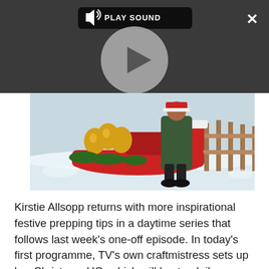[Figure (screenshot): Video player overlay with dark grey background showing PLAY SOUND button with speaker icon at top, a large circular play button in the center, and a close X button at top right. Below is an expand/fullscreen icon.]
[Figure (photo): Christmas scene showing a red sleigh decorated with gold bells and greenery, with a person in a long dark coat standing beside it in a snowy outdoor setting with a wooden fence in the background.]
Kirstie Allsopp returns with more inspirational festive prepping tips in a daytime series that follows last week's one-off episode. In today's first programme, TV's own craftmistress sets up her Christmas HQ, which will host a daily competition between the